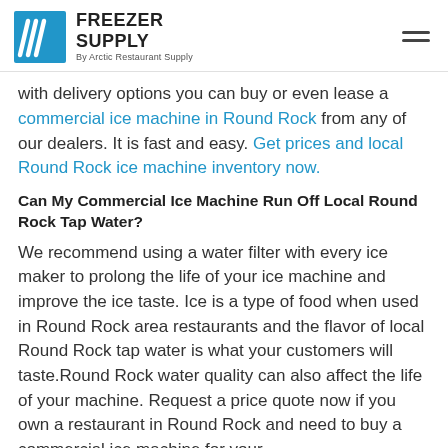FREEZER SUPPLY By Arctic Restaurant Supply
with delivery options you can buy or even lease a commercial ice machine in Round Rock from any of our dealers. It is fast and easy. Get prices and local Round Rock ice machine inventory now.
Can My Commercial Ice Machine Run Off Local Round Rock Tap Water?
We recommend using a water filter with every ice maker to prolong the life of your ice machine and improve the ice taste. Ice is a type of food when used in Round Rock area restaurants and the flavor of local Round Rock tap water is what your customers will taste.Round Rock water quality can also affect the life of your machine. Request a price quote now if you own a restaurant in Round Rock and need to buy a commercial ice machine for your